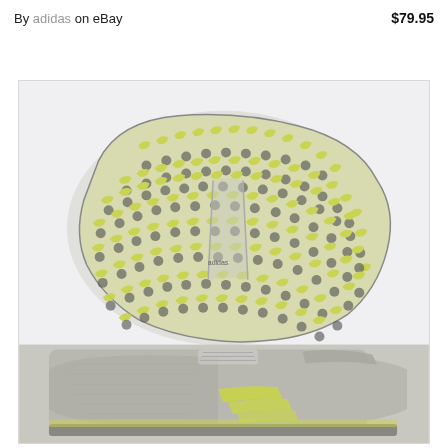By adidas on eBay   $79.95
[Figure (photo): Adidas golf shoe shown from two angles: the bottom sole facing up showing a yellow-green and gray spikeless traction pattern, and the top/side of a gray mesh golf shoe with yellow-green stripe accents visible at the lower portion of the image.]